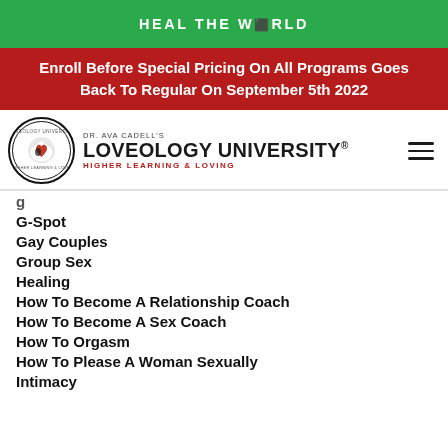HEAL THE WORLD
Enroll Before Special Pricing On All Programs Goes Back To Regular On September 5th 2022
[Figure (logo): Loveology University logo with circular emblem, Dr. Ava Cadell's Loveology University, Higher Learning & Loving]
G-Spot
Gay Couples
Group Sex
Healing
How To Become A Relationship Coach
How To Become A Sex Coach
How To Orgasm
How To Please A Woman Sexually
Intimacy